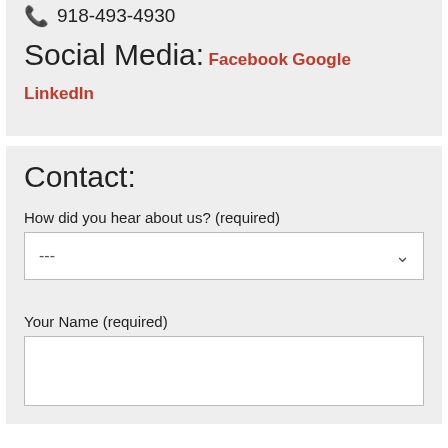918-493-4930
Social Media:
Facebook
Google
LinkedIn
Contact:
How did you hear about us? (required)
---
Your Name (required)